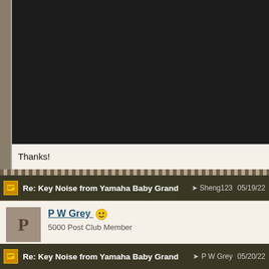[Figure (screenshot): Dark/black image area at the top of a forum post]
Thanks!
Re: Key Noise from Yamaha Baby Grand  Sheng123  05/19/22
P W Grey
5000 Post Club Member
Pretty sure Scott nailed it. Either loose hammer "rest" rail or loose k... Neither is a big deal. However it indicates that the piano has been unused and unserviced for a long time...probably.

Peter Grey Piano Doctor
Re: Key Noise from Yamaha Baby Grand  P W Grey  05/20/22